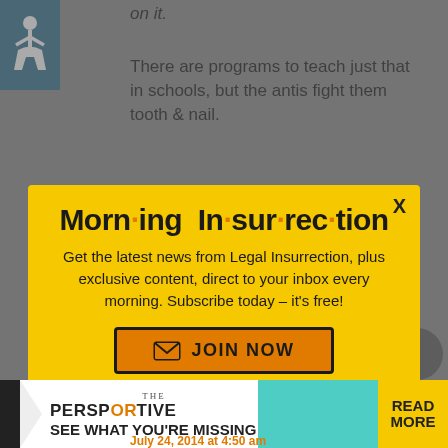on it.
There are programs to teach just that in schools, but the antis fight them tooth & nail.
[Figure (screenshot): Morning Insurrection newsletter popup modal with yellow background, close X button, headline 'Morn·ing In·sur·rec·tion', subscription text, and orange JOIN NOW button]
Bless your he...
[Figure (screenshot): The Perspective advertisement banner: 'SEE WHAT YOU'RE MISSING' with READ MORE button in yellow]
July 24, 2014 at 4:50 am